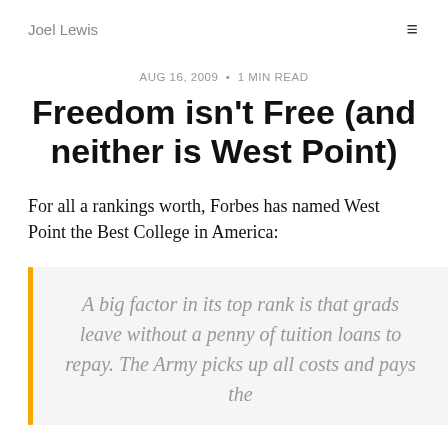Joel Lewis
AUG 16, 2009 • 1 MIN READ
Freedom isn't Free (and neither is West Point)
For all a rankings worth, Forbes has named West Point the Best College in America:
A big factor in its top rank is that grads leave without a penny of tuition loans to repay. The Army picks up all costs and pays the